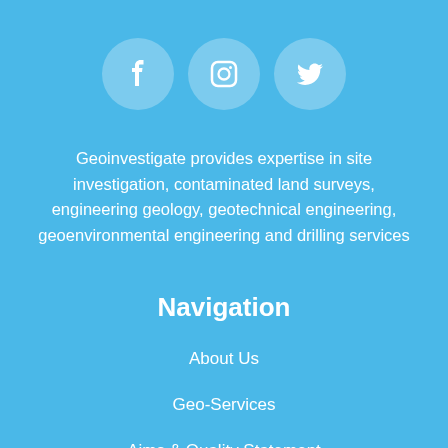[Figure (illustration): Three social media icon circles in a row: Facebook (f), Instagram (camera), Twitter (bird), all white icons on semi-transparent light blue circles]
Geoinvestigate provides expertise in site investigation, contaminated land surveys, engineering geology, geotechnical engineering, geoenvironmental engineering and drilling services
Navigation
About Us
Geo-Services
Aims & Quality Statement